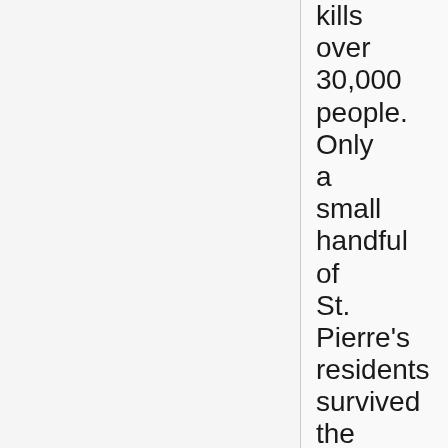kills over 30,000 people. Only a small handful of St. Pierre's residents survived the blast. May